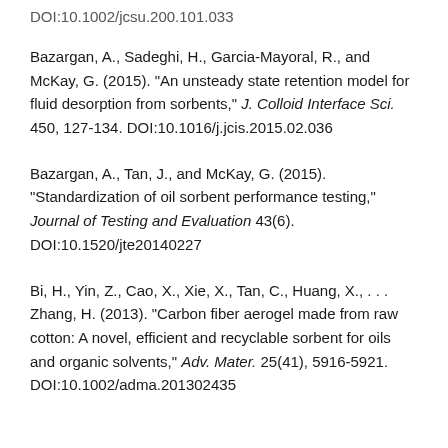DOI:10.1002/jcsu.200.101.033
Bazargan, A., Sadeghi, H., Garcia-Mayoral, R., and McKay, G. (2015). "An unsteady state retention model for fluid desorption from sorbents," J. Colloid Interface Sci. 450, 127-134. DOI:10.1016/j.jcis.2015.02.036
Bazargan, A., Tan, J., and McKay, G. (2015). "Standardization of oil sorbent performance testing," Journal of Testing and Evaluation 43(6). DOI:10.1520/jte20140227
Bi, H., Yin, Z., Cao, X., Xie, X., Tan, C., Huang, X., . . . Zhang, H. (2013). "Carbon fiber aerogel made from raw cotton: A novel, efficient and recyclable sorbent for oils and organic solvents," Adv. Mater. 25(41), 5916-5921. DOI:10.1002/adma.201302435